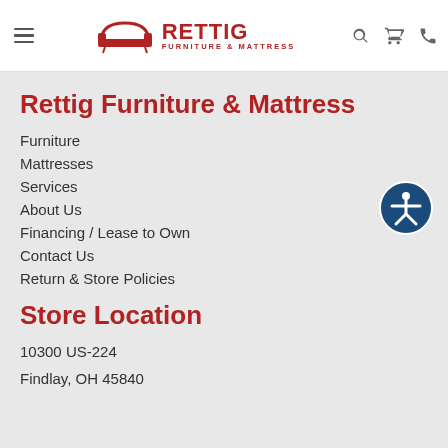Rettig Furniture & Mattress — navigation header with hamburger menu, logo, search, cart, and phone icons
Rettig Furniture & Mattress
Furniture
Mattresses
Services
About Us
Financing / Lease to Own
Contact Us
Return & Store Policies
Store Location
10300 US-224
Findlay, OH 45840